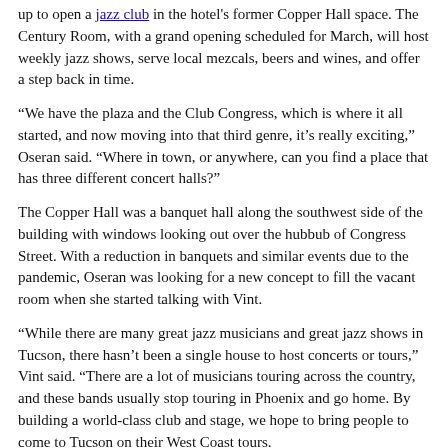up to open a jazz club in the hotel's former Copper Hall space. The Century Room, with a grand opening scheduled for March, will host weekly jazz shows, serve local mezcals, beers and wines, and offer a step back in time.
“We have the plaza and the Club Congress, which is where it all started, and now moving into that third genre, it’s really exciting,” Oseran said. “Where in town, or anywhere, can you find a place that has three different concert halls?”
The Copper Hall was a banquet hall along the southwest side of the building with windows looking out over the hubbub of Congress Street. With a reduction in banquets and similar events due to the pandemic, Oseran was looking for a new concept to fill the vacant room when she started talking with Vint.
“While there are many great jazz musicians and great jazz shows in Tucson, there hasn’t been a single house to host concerts or tours,” Vint said. “There are a lot of musicians touring across the country, and these bands usually stop touring in Phoenix and go home. By building a world-class club and stage, we hope to bring people to come to Tucson on their West Coast tours.
Vint grew up in Tucson and graduated from Rincon High School.
He also worked at the Congress Hotel as a night shift receptionist